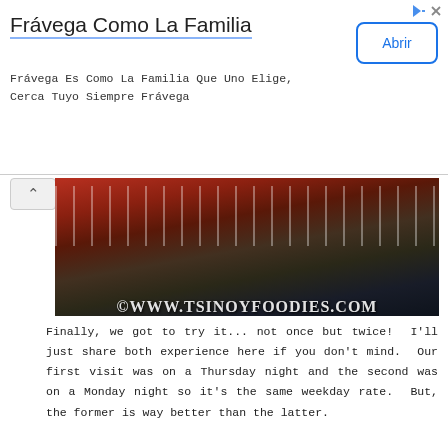[Figure (screenshot): Advertisement banner for Frávega Como La Familia with title, body text, and Abrir button]
Frávega Como La Familia
Frávega Es Como La Familia Que Uno Elige, Cerca Tuyo Siempre Frávega
[Figure (photo): Restaurant interior photo with watermark ©WWW.TSINOYFOODIES.COM]
Finally, we got to try it... not once but twice! I'll just share both experience here if you don't mind. Our first visit was on a Thursday night and the second was on a Monday night so it's the same weekday rate. But, the former is way better than the latter.
Food
Cheese Station
[Figure (photo): Photo of cheese station food spread with TSINOY FOODIES badge]